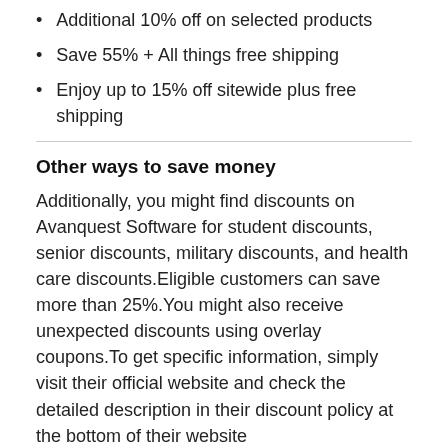Additional 10% off on selected products
Save 55% + All things free shipping
Enjoy up to 15% off sitewide plus free shipping
Other ways to save money
Additionally, you might find discounts on Avanquest Software for student discounts, senior discounts, military discounts, and health care discounts.Eligible customers can save more than 25%.You might also receive unexpected discounts using overlay coupons.To get specific information, simply visit their official website and check the detailed description in their discount policy at the bottom of their website